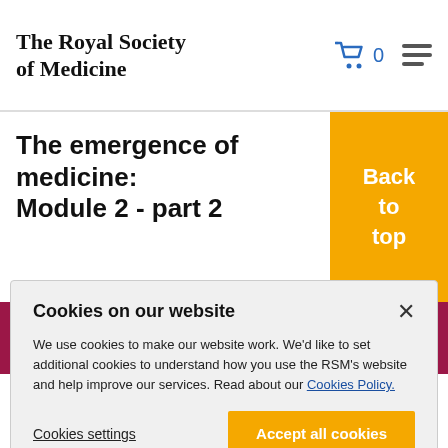The Royal Society of Medicine
The emergence of medicine: Module 2 - part 2
[Figure (screenshot): Back to top orange button]
[Figure (screenshot): Crimson banner with purple Become a member button]
Cookies on our website
We use cookies to make our website work. We'd like to set additional cookies to understand how you use the RSM's website and help improve our services. Read about our Cookies Policy.
Cookies settings
Accept all cookies